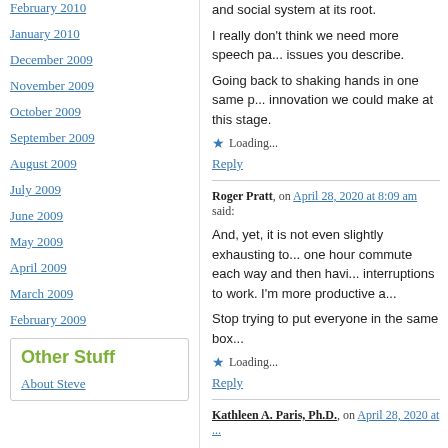February 2010
January 2010
December 2009
November 2009
October 2009
September 2009
August 2009
July 2009
June 2009
May 2009
April 2009
March 2009
February 2009
Other Stuff
About Steve
and social system at its root.
I really don't think we need more speech pa... issues you describe.
Going back to shaking hands in one same p... innovation we could make at this stage.
Loading...
Reply
Roger Pratt, on April 28, 2020 at 8:09 am said:
And, yet, it is not even slightly exhausting to... one hour commute each way and then havi... interruptions to work. I'm more productive a...
Stop trying to put everyone in the same box...
Loading...
Reply
Kathleen A. Paris, Ph.D., on April 28, 2020 at ...
Some of the disadvantages of videoconfere... more problematic by poorly designed virtua... Power" we teach a variety of virtual group d...